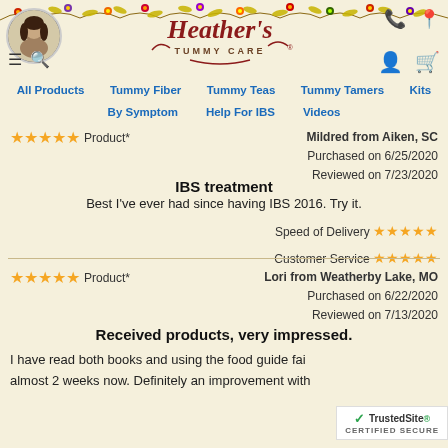[Figure (illustration): Decorative floral border with colorful flowers and yellow leaves across the top of the page]
[Figure (photo): Circular profile photo of a woman with dark hair]
[Figure (logo): Heather's Tummy Care logo in cursive brown/red text with decorative scrollwork]
All Products   Tummy Fiber   Tummy Teas   Tummy Tamers   Kits   By Symptom   Help For IBS   Videos
★★★★★ Product*
Mildred from Aiken, SC
Purchased on 6/25/2020
Reviewed on 7/23/2020
IBS treatment
Best I've ever had since having IBS 2016. Try it.
Speed of Delivery ★★★★★
Customer Service ★★★★★
★★★★★ Product*
Lori from Weatherby Lake, MO
Purchased on 6/22/2020
Reviewed on 7/13/2020
Received products, very impressed.
I have read both books and using the food guide fai almost 2 weeks now. Definitely an improvement with